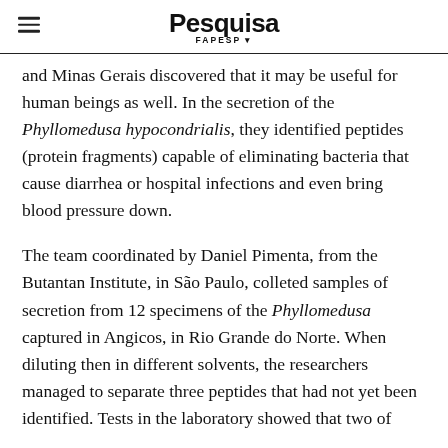Pesquisa FAPESP
and Minas Gerais discovered that it may be useful for human beings as well. In the secretion of the Phyllomedusa hypocondrialis, they identified peptides (protein fragments) capable of eliminating bacteria that cause diarrhea or hospital infections and even bring blood pressure down.
The team coordinated by Daniel Pimenta, from the Butantan Institute, in São Paulo, colleted samples of secretion from 12 specimens of the Phyllomedusa captured in Angicos, in Rio Grande do Norte. When diluting then in different solvents, the researchers managed to separate three peptides that had not yet been identified. Tests in the laboratory showed that two of